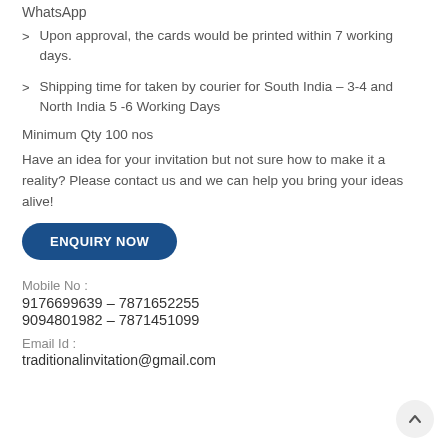WhatsApp
Upon approval, the cards would be printed within 7 working days.
Shipping time for taken by courier for South India – 3-4 and North India 5 -6 Working Days
Minimum Qty 100 nos
Have an idea for your invitation but not sure how to make it a reality? Please contact us and we can help you bring your ideas alive!
ENQUIRY NOW
Mobile No :
9176699639 – 7871652255
9094801982 – 7871451099
Email Id :
traditionalinvitation@gmail.com